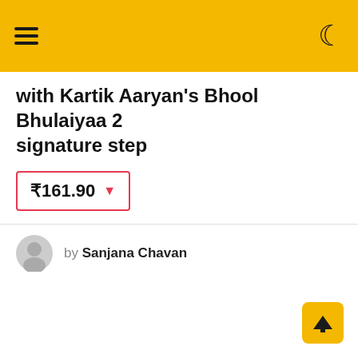with Kartik Aaryan's Bhool Bhulaiyaa 2 signature step
₹161.90 ▼
by Sanjana Chavan